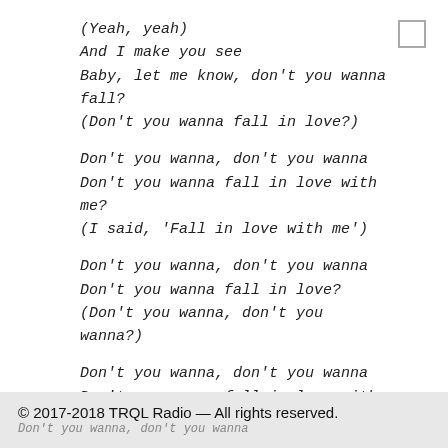(Yeah, yeah)
And I make you see
Baby, let me know, don't you wanna fall?
(Don't you wanna fall in love?)
Don't you wanna, don't you wanna
Don't you wanna fall in love with me?
(I said, 'Fall in love with me')
Don't you wanna, don't you wanna
Don't you wanna fall in love?
(Don't you wanna, don't you wanna?)
Don't you wanna, don't you wanna
Don't you wanna fall in love with me?
(Fall in love with me, I wanna fall, I wanna fall)
© 2017-2018 TRQL Radio — All rights reserved.
Don't you wanna, don't you wanna